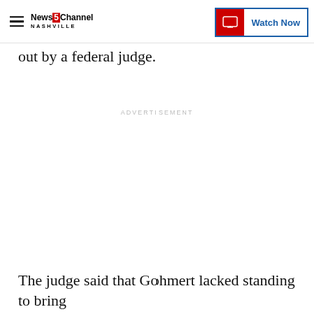NewsChannel 5 Nashville | Watch Now
out by a federal judge.
ADVERTISEMENT
The judge said that Gohmert lacked standing to bring